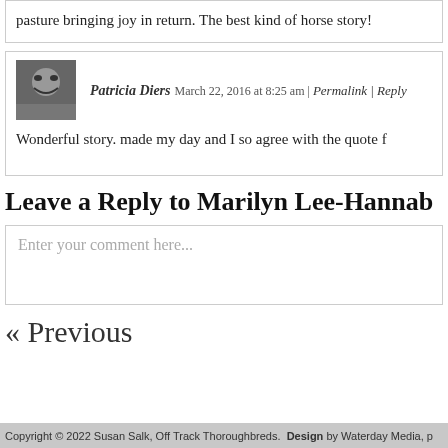pasture bringing joy in return. The best kind of horse story!
Patricia Diers March 22, 2016 at 8:25 am | Permalink | Reply
Wonderful story. made my day and I so agree with the quote f
Leave a Reply to Marilyn Lee-Hannab
Enter your comment here...
« Previous
Copyright © 2022 Susan Salk, Off Track Thoroughbreds. Design by Waterday Media, p